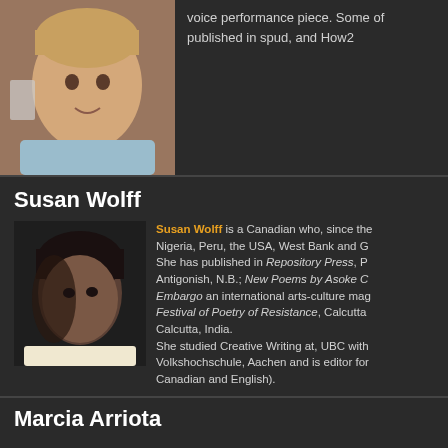voice performance piece. Some of her work has been published in spud, and How2
[Figure (photo): Headshot of a woman with short blonde hair, wearing a light blue blazer, smiling, with brick wall background]
Susan Wolff
[Figure (photo): Dark, moody portrait of a woman with dark hair looking to the side]
Susan Wolff is a Canadian who, since the... Nigeria, Peru, the USA, West Bank and G... She has published in Repository Press, P... Antigonish, N.B.; New Poems by Asoke C... Embargo an international arts-culture mag... Festival of Poetry of Resistance, Calcutta... Calcutta, India. She studied Creative Writing at, UBC with... Volkshochschule, Aachen and is editor for... Canadian and English).
Marcia Arriota